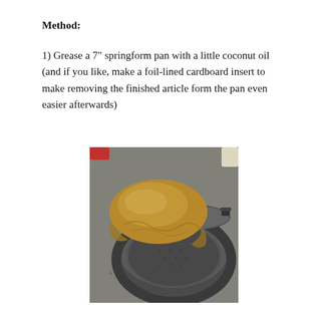Method:
1) Grease a 7" springform pan with a little coconut oil (and if you like, make a foil-lined cardboard insert to make removing the finished article form the pan even easier afterwards)
[Figure (photo): A springform pan with a foil-lined circular cardboard insert sitting on top of the pan on a grey granite countertop. The foil insert is gold/brown coloured and circular, the pan is dark grey non-stick metal.]